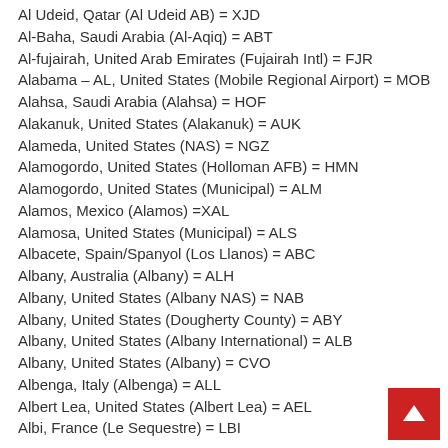Al Udeid, Qatar (Al Udeid AB) = XJD
Al-Baha, Saudi Arabia (Al-Aqiq) = ABT
Al-fujairah, United Arab Emirates (Fujairah Intl) = FJR
Alabama – AL, United States (Mobile Regional Airport) = MOB
Alahsa, Saudi Arabia (Alahsa) = HOF
Alakanuk, United States (Alakanuk) = AUK
Alameda, United States (NAS) = NGZ
Alamogordo, United States (Holloman AFB) = HMN
Alamogordo, United States (Municipal) = ALM
Alamos, Mexico (Alamos) =XAL
Alamosa, United States (Municipal) = ALS
Albacete, Spain/Spanyol (Los Llanos) = ABC
Albany, Australia (Albany) = ALH
Albany, United States (Albany NAS) = NAB
Albany, United States (Dougherty County) = ABY
Albany, United States (Albany International) = ALB
Albany, United States (Albany) = CVO
Albenga, Italy (Albenga) = ALL
Albert Lea, United States (Albert Lea) = AEL
Albi, France (Le Sequestre) = LBI